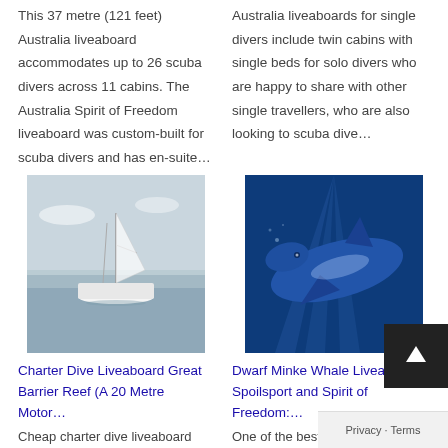This 37 metre (121 feet) Australia liveaboard accommodates up to 26 scuba divers across 11 cabins. The Australia Spirit of Freedom liveaboard was custom-built for scuba divers and has en-suite…
Australia liveaboards for single divers include twin cabins with single beds for solo divers who are happy to share with other single travellers, who are also looking to scuba dive…
[Figure (photo): Aerial view of a white sailboat on calm gray water]
[Figure (photo): Underwater photo of a dwarf minke whale swimming in dark blue water]
Charter Dive Liveaboard Great Barrier Reef (A 20 Metre Motor…
Dwarf Minke Whale Liveaboard Spoilsport and Spirit of Freedom:…
Cheap charter dive liveaboard Great Barrier Reef that gives you
One of the best opportuni… see Dwarf Minke Whales i…